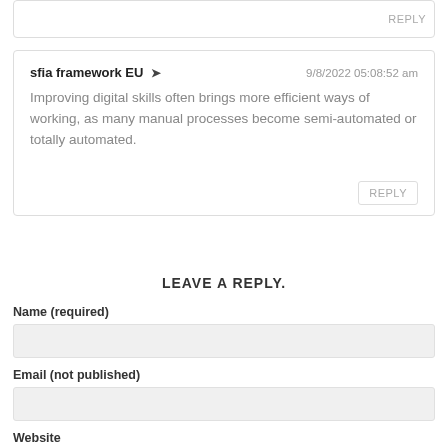REPLY
sfia framework EU ➤  9/8/2022 05:08:52 am
Improving digital skills often brings more efficient ways of working, as many manual processes become semi-automated or totally automated.
REPLY
LEAVE A REPLY.
Name (required)
Email (not published)
Website